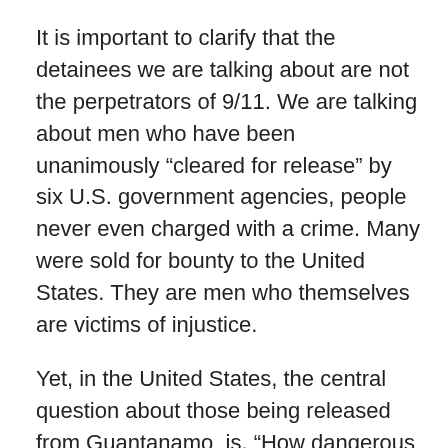It is important to clarify that the detainees we are talking about are not the perpetrators of 9/11. We are talking about men who have been unanimously “cleared for release” by six U.S. government agencies, people never even charged with a crime. Many were sold for bounty to the United States. They are men who themselves are victims of injustice.
Yet, in the United States, the central question about those being released from Guantanamo  is, “How dangerous are  they, and will they hurt us in the future?”
Not everyone in the world sees it that way – certainly not Uruguayans.
Beyond the borders of the United States, those